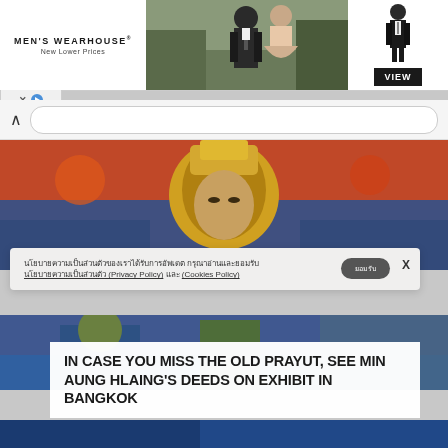[Figure (screenshot): Men's Wearhouse advertisement banner showing a couple in formal wear and a man in a suit, with VIEW button]
MEN'S WEARHOUSE®
New Lower Prices
VIEW
[Figure (screenshot): Browser address bar with back/up navigation]
[Figure (photo): Colorful mural artwork showing decorative figures]
นโยบายความเป็นส่วนตัว (Privacy Policy) และ (Cookies Policy)
X
ยอมรับ
[Figure (photo): Colorful mural artwork lower portion with figures]
IN CASE YOU MISS THE OLD PRAYUT, SEE MIN AUNG HLAING'S DEEDS ON EXHIBIT IN BANGKOK
[Figure (screenshot): Blue partial image at bottom of page]